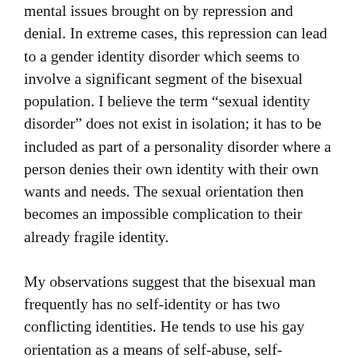mental issues brought on by repression and denial. In extreme cases, this repression can lead to a gender identity disorder which seems to involve a significant segment of the bisexual population. I believe the term “sexual identity disorder” does not exist in isolation; it has to be included as part of a personality disorder where a person denies their own identity with their own wants and needs. The sexual orientation then becomes an impossible complication to their already fragile identity.
My observations suggest that the bisexual man frequently has no self-identity or has two conflicting identities. He tends to use his gay orientation as a means of self-abuse, self-punishment, and self-destruction. Because he cannot face his true sexual identity, his sexual drive may become a compulsion that